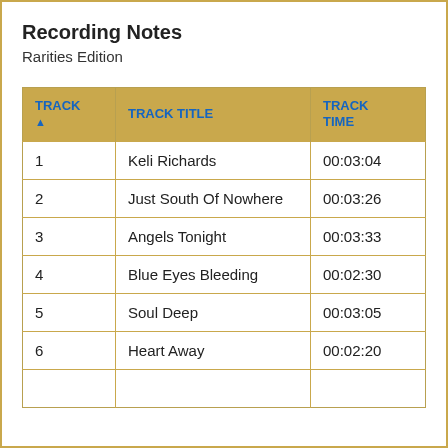Recording Notes
Rarities Edition
| TRACK ▲ | TRACK TITLE | TRACK TIME |
| --- | --- | --- |
| 1 | Keli Richards | 00:03:04 |
| 2 | Just South Of Nowhere | 00:03:26 |
| 3 | Angels Tonight | 00:03:33 |
| 4 | Blue Eyes Bleeding | 00:02:30 |
| 5 | Soul Deep | 00:03:05 |
| 6 | Heart Away | 00:02:20 |